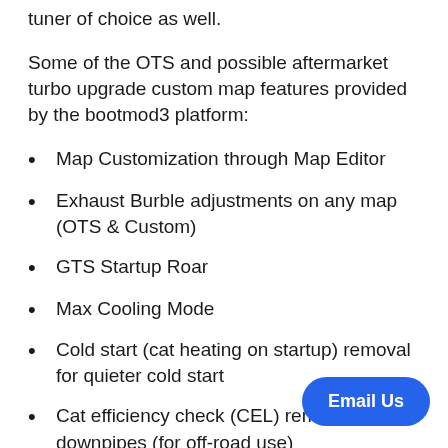tuner of choice as well.
Some of the OTS and possible aftermarket turbo upgrade custom map features provided by the bootmod3 platform:
Map Customization through Map Editor
Exhaust Burble adjustments on any map (OTS & Custom)
GTS Startup Roar
Max Cooling Mode
Cold start (cat heating on startup) removal for quieter cold start
Cat efficiency check (CEL) removal for downpipes (for off-road use)
OPF/PPF/GPF Removal
Email Us